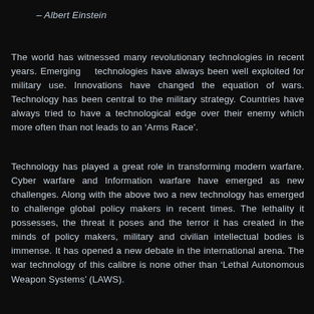– Albert Einstein
The world has witnessed many revolutionary technologies in recent years. Emerging    technologies have always been well exploited for military use. Innovations have changed the equation of wars. Technology has been central to the military strategy. Countries have always tried to have a technological edge over their enemy which more often than not leads to an ‘Arms Race’.
Technology has played a great role in transforming modern warfare. Cyber warfare and Information warfare have emerged as new challenges. Along with the above two a new technology has emerged to challenge global policy makers in recent times. The lethality it possesses, the threat it poses and the terror it has created in the minds of policy makers, military and civilian intellectual bodies is immense. It has opened a new debate in the international arena. The war technology of this calibre is none other than ‘Lethal Autonomous Weapon Systems’ (LAWS).